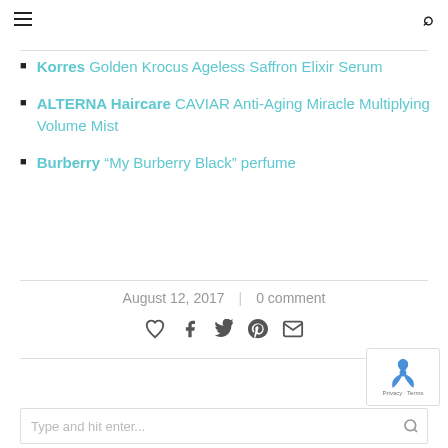Navigation header with hamburger menu and search icon
Korres Golden Krocus Ageless Saffron Elixir Serum
ALTERNA Haircare CAVIAR Anti-Aging Miracle Multiplying Volume Mist
Burberry “My Burberry Black” perfume
August 12, 2017  |  0 comment
Social share icons: heart, facebook, twitter, pinterest, email